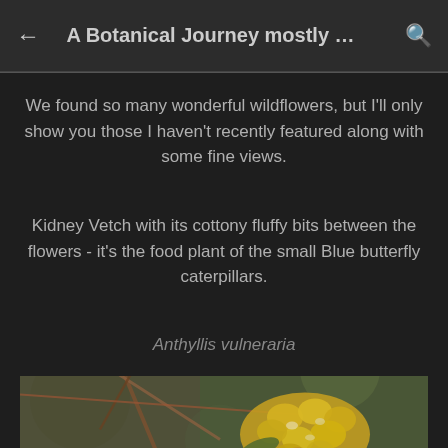A Botanical Journey mostly …
We found so many wonderful wildflowers, but I'll only show you those I haven't recently featured along with some fine views.
Kidney Vetch with its cottony fluffy bits between the flowers - it's the food plant of the small Blue butterfly caterpillars.
Anthyllis vulneraria
[Figure (photo): Close-up photograph of Anthyllis vulneraria (Kidney Vetch) showing yellow fluffy flowers with cottony bits, against a blurred green and brown background with thin brown stems.]